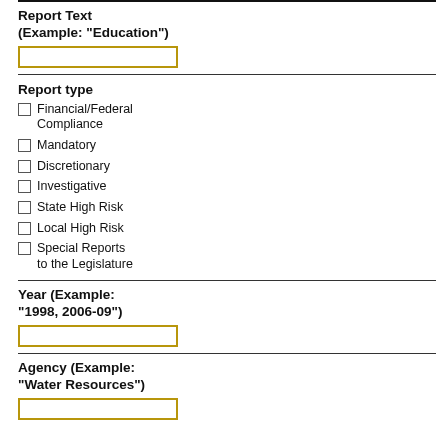Report Text
(Example: "Education")
[Figure (other): Empty text input box with gold/yellow border for Report Text]
Report type
Financial/Federal Compliance
Mandatory
Discretionary
Investigative
State High Risk
Local High Risk
Special Reports to the Legislature
Year (Example:
"1998, 2006-09")
[Figure (other): Empty text input box with gold/yellow border for Year]
Agency (Example:
"Water Resources")
[Figure (other): Empty text input box with gold/yellow border for Agency]